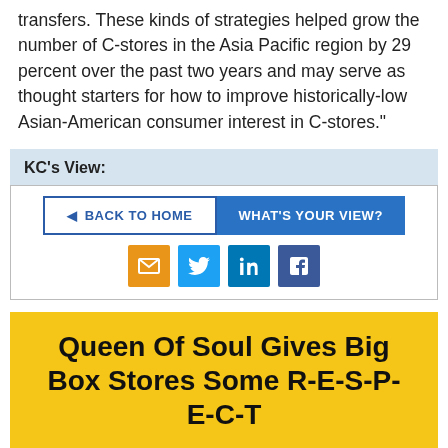transfers. These kinds of strategies helped grow the number of C-stores in the Asia Pacific region by 29 percent over the past two years and may serve as thought starters for how to improve historically-low Asian-American consumer interest in C-stores."
KC's View:
[Figure (other): Navigation buttons: BACK TO HOME and WHAT'S YOUR VIEW?, and social share icons for email, Twitter, LinkedIn, Facebook]
Queen Of Soul Gives Big Box Stores Some R-E-S-P-E-C-T